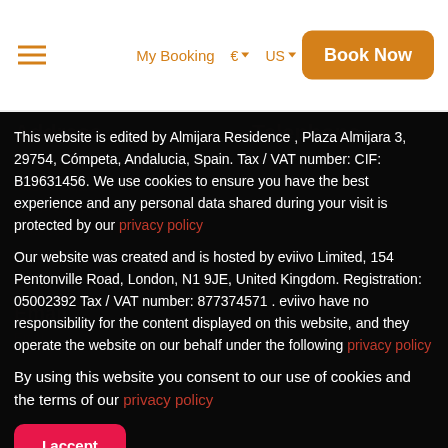My Booking  €  US  Book Now
Address    Telephone
This website is edited by Almijara Residence , Plaza Almijara 3, 29754, Cómpeta, Andalucia, Spain. Tax / VAT number: CIF: B19631456. We use cookies to ensure you have the best experience and any personal data shared during your visit is protected by our privacy policy
Our website was created and is hosted by eviivo Limited, 154 Pentonville Road, London, N1 9JE, United Kingdom. Registration: 05002392 Tax / VAT number: 877374571 . eviivo have no responsibility for the content displayed on this website, and they operate the website on our behalf under the following privacy policy
By using this website you consent to our use of cookies and the terms of our privacy policy
I accept
More information